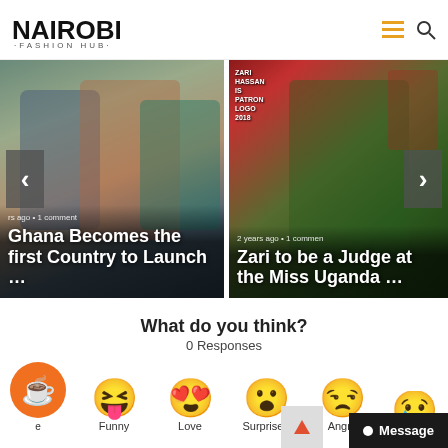[Figure (logo): Nairobi Fashion Hub logo with stylized letters and subtitle]
[Figure (photo): Slider showing two article cards: 'Ghana Becomes the first Country to Launch...' and 'Zari to be a Judge at the Miss Uganda...' with left/right navigation arrows]
What do you think?
0 Responses
[Figure (infographic): Emoji reaction row with icons: coffee cup (Like), Funny face, Love face, Surprised face, Angry face, Sad face with labels]